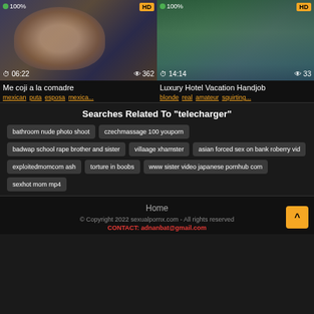[Figure (screenshot): Video thumbnail for 'Me coji a la comadre' showing duration 06:22, views 362, HD badge, 100% rating]
[Figure (screenshot): Video thumbnail for 'Luxury Hotel Vacation Handjob' showing duration 14:14, views 33, HD badge, 100% rating]
Me coji a la comadre
mexican puta esposa mexica...
Luxury Hotel Vacation Handjob
blonde real amateur squirting...
Searches Related To "telecharger"
bathroom nude photo shoot
czechmassage 100 youporn
badwap school rape brother and sister
villaage xhamster
asian forced sex on bank roberry vid
exploitedmomcom ash
torture in boobs
www sister video japanese pornhub com
sexhot mom mp4
Home
© Copyright 2022 sexualpornx.com - All rights reserved
CONTACT: adnanbat@gmail.com